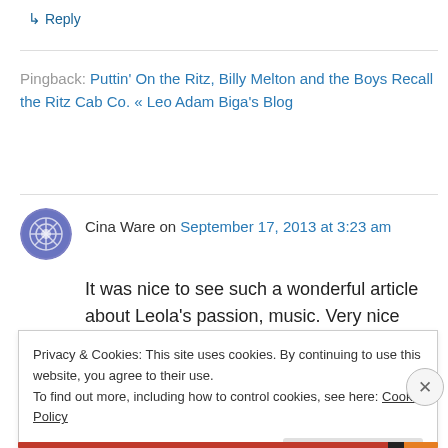↳ Reply
Pingback: Puttin' On the Ritz, Billy Melton and the Boys Recall the Ritz Cab Co. « Leo Adam Biga's Blog
Cina Ware on September 17, 2013 at 3:23 am
It was nice to see such a wonderful article about Leola's passion, music. Very nice
★ Like
Privacy & Cookies: This site uses cookies. By continuing to use this website, you agree to their use.
To find out more, including how to control cookies, see here: Cookie Policy